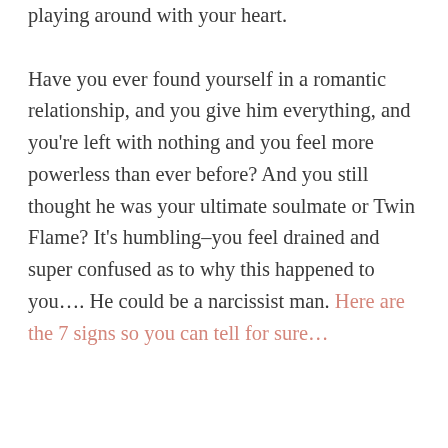playing around with your heart.

Have you ever found yourself in a romantic relationship, and you give him everything, and you're left with nothing and you feel more powerless than ever before? And you still thought he was your ultimate soulmate or Twin Flame? It's humbling–you feel drained and super confused as to why this happened to you…. He could be a narcissist man. Here are the 7 signs so you can tell for sure…